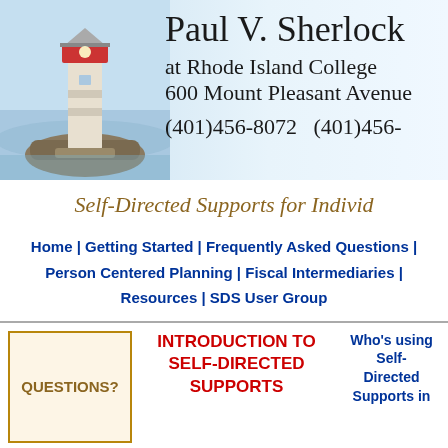[Figure (illustration): Header banner with lighthouse on left, light blue ocean background, and text 'Paul V. Sherlock at Rhode Island College 600 Mount Pleasant Avenue (401)456-8072 (401)456-...' on right]
Self-Directed Supports for Individ...
Home | Getting Started | Frequently Asked Questions | Person Centered Planning | Fiscal Intermediaries | Resources | SDS User Group
[Figure (other): QUESTIONS? box with tan background and gold border]
INTRODUCTION TO SELF-DIRECTED SUPPORTS
Who's using Self-Directed Supports in...